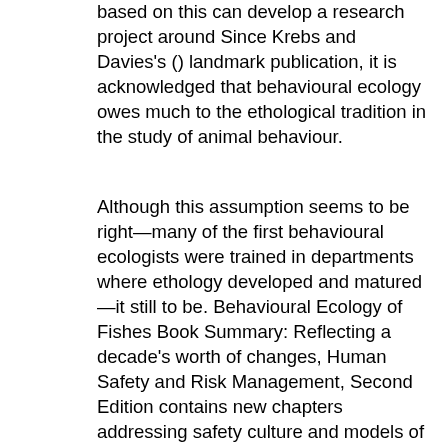based on this can develop a research project around Since Krebs and Davies's () landmark publication, it is acknowledged that behavioural ecology owes much to the ethological tradition in the study of animal behaviour.
Although this assumption seems to be right—many of the first behavioural ecologists were trained in departments where ethology developed and matured—it still to be. Behavioural Ecology of Fishes Book Summary: Reflecting a decade's worth of changes, Human Safety and Risk Management, Second Edition contains new chapters addressing safety culture and models of risk as well as an extensive re-working of the material from the earlier edition.
Examining a wide range of approaches to risk, the authors define safety culture and review theoretical models that Behavioural Ecology provides a fascinating insight into the evolutionary and ecological processes that underpin animal behaviour. from research experts coupled to meticulous editing provide a text with all the qualities of a multi-authored book without the usual defects; Full coverage of topics including